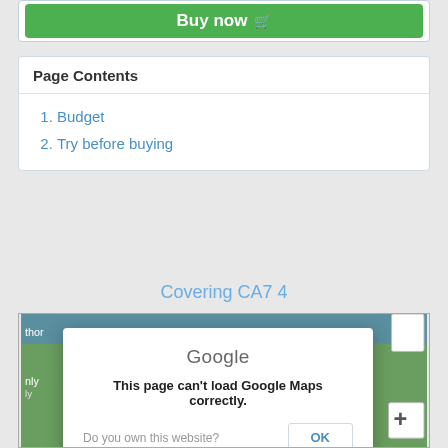[Figure (screenshot): Green 'Buy now' button with cart icon]
Page Contents
1. Budget
2. Try before buying
Covering CA7 4
[Figure (map): Google Maps area showing CA7 4 region with green circle overlay and error dialog. Dialog says: Google - This page can't load Google Maps correctly. Do you own this website? OK]
This page can't load Google Maps correctly.
Do you own this website?